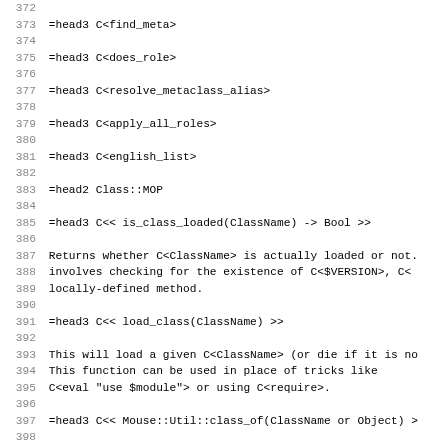Source code listing lines 372-403 showing POD documentation headers for Perl module Class::MOP including method declarations: find_meta, does_role, resolve_metaclass_alias, apply_all_roles, english_list, Class::MOP section, is_class_loaded(ClassName) -> Bool, load_class(ClassName), Mouse::Util::class_of, Mouse::Util::get_metaclass_by_name, Mouse::Util::get_all_metaclass_instances, Mouse::Util::get_all_metaclass_names with inline descriptions.